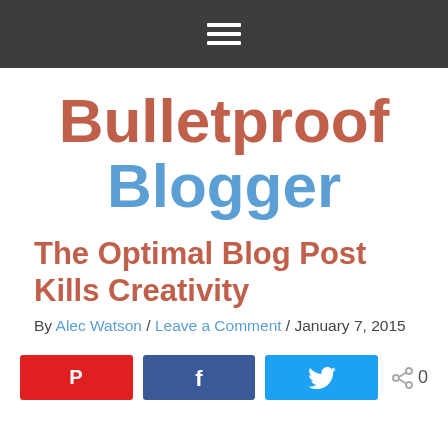≡ (navigation menu icon)
Bulletproof Blogger
The Optimal Blog Post Kills Creativity
By Alec Watson / Leave a Comment / January 7, 2015
[Figure (other): Social share buttons: Pinterest (red), Facebook (blue), Twitter (light blue), and a share count showing 0]